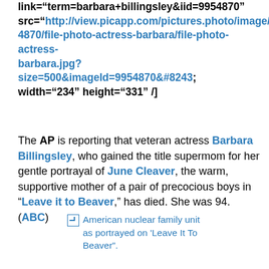link="term=barbara+billingsley&iid=9954870" src="http://view.picapp.com/pictures.photo/image/9954870/file-photo-actress-barbara/file-photo-actress-barbara.jpg?size=500&imageId=9954870&#8243; width="234" height="331" /]
The AP is reporting that veteran actress Barbara Billingsley, who gained the title supermom for her gentle portrayal of June Cleaver, the warm, supportive mother of a pair of precocious boys in "Leave it to Beaver," has died. She was 94.(ABC)
[Figure (photo): Broken image placeholder with alt text: American nuclear family unit as portrayed on 'Leave It To Beaver'.]